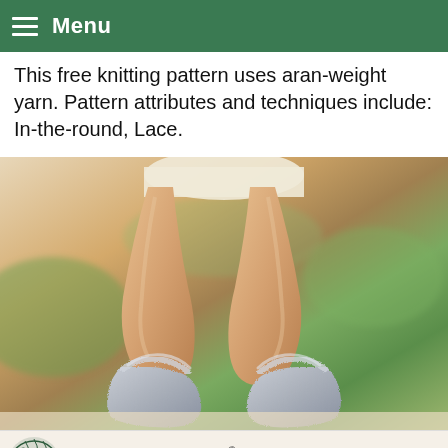Menu
This free knitting pattern uses aran-weight yarn. Pattern attributes and techniques include: In-the-round, Lace.
[Figure (photo): Baby legs wearing fluffy grey knitted booties/slippers, standing on a surface, with blurred green background. DROPS DESIGN logo and www.GARNSTUDIO.com watermark at bottom.]